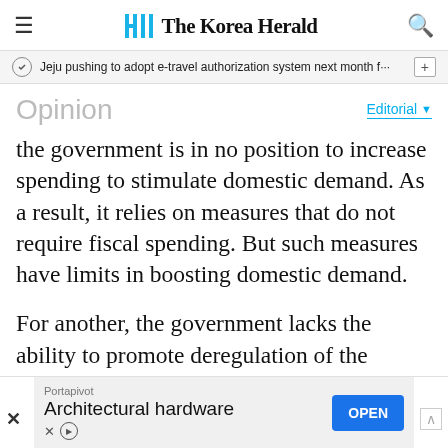The Korea Herald
Jeju pushing to adopt e-travel authorization system next month f…
Opinion
Editorial
the government is in no position to increase spending to stimulate domestic demand. As a result, it relies on measures that do not require fiscal spending. But such measures have limits in boosting domestic demand.
For another, the government lacks the ability to promote deregulation of the service sectors such as health care and education.
Portapivot
Architectural hardware
OPEN